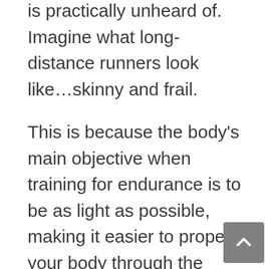is practically unheard of. Imagine what long-distance runners look like…skinny and frail.
This is because the body's main objective when training for endurance is to be as light as possible, making it easier to propel your body through the water.
Even though I stopped swimming at around 13, when I began training for bodybuilding (and muscle memory